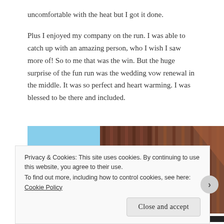uncomfortable with the heat but I got it done.
Plus I enjoyed my company on the run. I was able to catch up with an amazing person, who I wish I saw more of! So to me that was the win. But the huge surprise of the fun run was the wedding vow renewal in the middle. It was so perfect and heart warming. I was blessed to be there and included.
[Figure (photo): Outdoor photo showing a blue sky and wooden fence/wall structures from a low angle perspective. Orange/red banner visible at bottom edge.]
Privacy & Cookies: This site uses cookies. By continuing to use this website, you agree to their use.
To find out more, including how to control cookies, see here: Cookie Policy
Close and accept